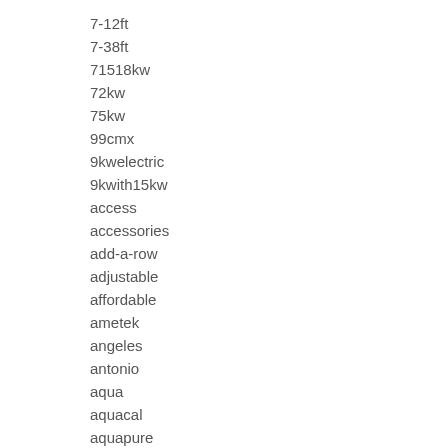7-12ft
7-38ft
71518kw
72kw
75kw
99cmx
9kwelectric
9kwith15kw
access
accessories
add-a-row
adjustable
affordable
ametek
angeles
antonio
aqua
aquacal
aquapure